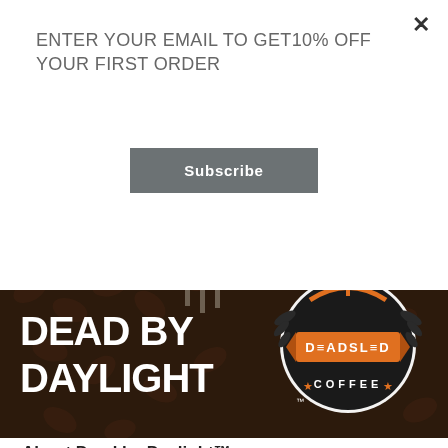ENTER YOUR EMAIL TO GET10% OFF YOUR FIRST ORDER
Subscribe
[Figure (illustration): Dead by Daylight x Deadsled Coffee promotional banner. Dark background with coffee beans texture. Left side shows 'DEAD BY DAYLIGHT' in large bold white text. Right side shows the Deadsled Coffee logo — a circular emblem with orange/black colors, leaf/wing wreath, a banner ribbon, and 'DEADSLED' text above 'COFFEE' with orange star decorations.]
About Dead by Daylight™
Dead by Daylight is the multiplayer action horror game of hide and seek from Behaviour™ Interactive where 1 crazed killer hunts 4 friends through a terrifying nightmare. Dead by Daylight boasts more than 50 million players both globally and across all